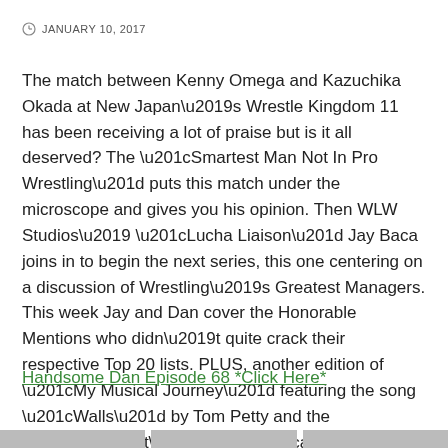JANUARY 10, 2017
The match between Kenny Omega and Kazuchika Okada at New Japan’s Wrestle Kingdom 11 has been receiving a lot of praise but is it all deserved? The “Smartest Man Not In Pro Wrestling” puts this match under the microscope and gives you his opinion. Then WLW Studios’ “Lucha Liaison” Jay Baca joins in to begin the next series, this one centering on a discussion of Wrestling’s Greatest Managers. This week Jay and Dan cover the Honorable Mentions who didn’t quite crack their respective Top 20 lists. PLUS, another edition of “My Musical Journey” featuring the song “Walls” by Tom Petty and the Heartbreakers. It’s a stacked card as we pull out all the stops in order to Raise Your Wrestling IQ!
Handsome Dan Episode 68 *Click Here*